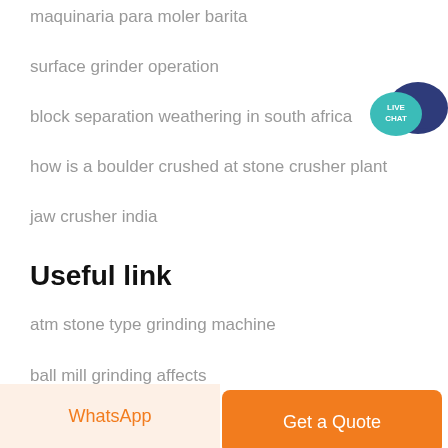maquinaria para moler barita
surface grinder operation
block separation weathering in south africa
how is a boulder crushed at stone crusher plant
jaw crusher india
Useful link
atm stone type grinding machine
ball mill grinding affects
[Figure (illustration): Live Chat speech bubble icon with teal and dark blue colors, text LIVE CHAT]
WhatsApp | Get a Quote